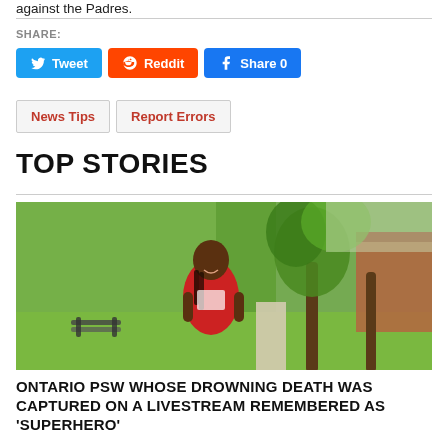against the Padres.
SHARE:
[Figure (screenshot): Social share buttons: Tweet (Twitter), Reddit, Share 0 (Facebook)]
[Figure (screenshot): Action buttons: News Tips, Report Errors]
TOP STORIES
[Figure (photo): A woman in a red t-shirt with African Centre for Toronto logo smiling outdoors on a sunny day, trees and a path in the background.]
ONTARIO PSW WHOSE DROWNING DEATH WAS CAPTURED ON A LIVESTREAM REMEMBERED AS 'SUPERHERO'